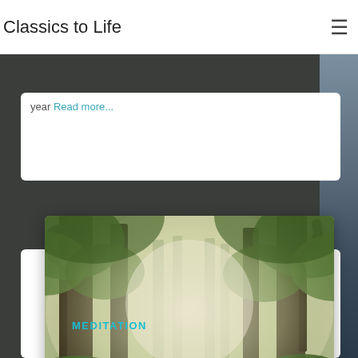Classics to Life
year Read more...
[Figure (photo): A misty forest path with tall trees and stone steps leading upward, flanked by green hedges and lush vegetation, with soft fog filtering morning light through the canopy.]
MEDITATION